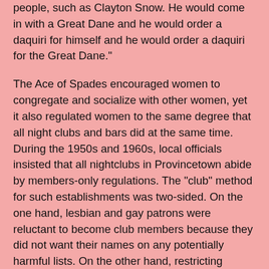people, such as Clayton Snow. He would come in with a Great Dane and he would order a daquiri for himself and he would order a daquiri for the Great Dane."
The Ace of Spades encouraged women to congregate and socialize with other women, yet it also regulated women to the same degree that all night clubs and bars did at the same time. During the 1950s and 1960s, local officials insisted that all nightclubs in Provincetown abide by members-only regulations. The "club" method for such establishments was two-sided. On the one hand, lesbian and gay patrons were reluctant to become club members because they did not want their names on any potentially harmful lists. On the other hand, restricting access to members and their guests allowed bar owners to throw out unruly or unwanted patrons. The rules also stipulated that no women could tend bar and that all women had to be seated before they could buy a drink. But still, the Ace of Spades offered women a place to express their desires for other women freely.....Allegedly the longest continuously running lesbian bar in the United States, the Ace of Spades played a critical role in Provincetown's history as the first, and for